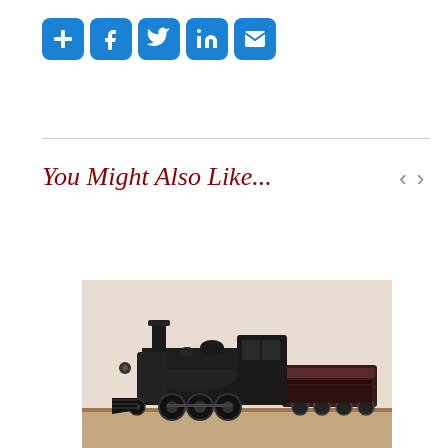[Figure (other): Social sharing buttons: plus/add, Facebook, Twitter, LinkedIn, Email]
You Might Also Like...
[Figure (photo): Photograph of a black model steam locomotive with tender on a display surface]